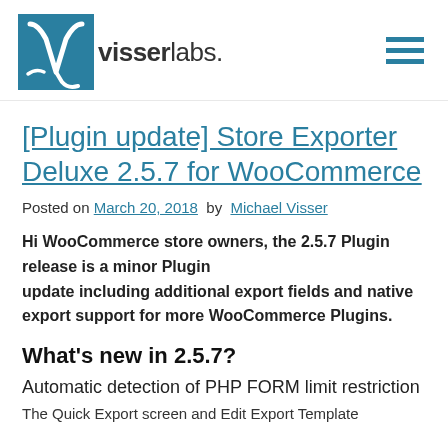visserlabs.
[Plugin update] Store Exporter Deluxe 2.5.7 for WooCommerce
Posted on March 20, 2018  by  Michael Visser
Hi WooCommerce store owners, the 2.5.7 Plugin release is a minor Plugin update including additional export fields and native export support for more WooCommerce Plugins.
What's new in 2.5.7?
Automatic detection of PHP FORM limit restriction
The Quick Export screen and Edit Export Template